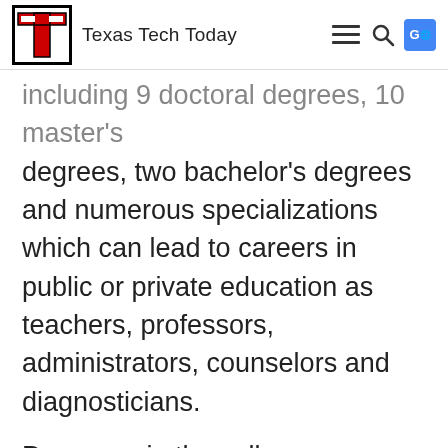Texas Tech Today
including 9 doctoral degrees, 10 master's degrees, two bachelor's degrees and numerous specializations which can lead to careers in public or private education as teachers, professors, administrators, counselors and diagnosticians.
Programs in the college are housed in three departments.
The Department of Curriculum &